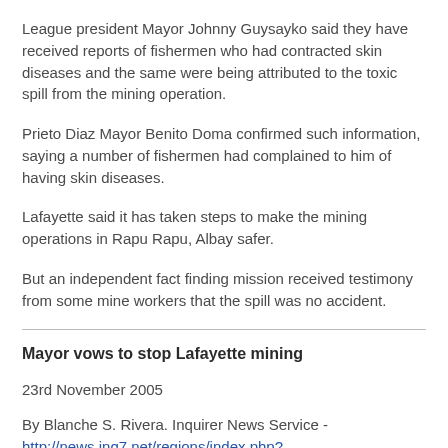League president Mayor Johnny Guysayko said they have received reports of fishermen who had contracted skin diseases and the same were being attributed to the toxic spill from the mining operation.
Prieto Diaz Mayor Benito Doma confirmed such information, saying a number of fishermen had complained to him of having skin diseases.
Lafayette said it has taken steps to make the mining operations in Rapu Rapu, Albay safer.
But an independent fact finding mission received testimony from some mine workers that the spill was no accident.
Mayor vows to stop Lafayette mining
23rd November 2005
By Blanche S. Rivera. Inquirer News Service - http://news.inq7.net/regions/index.php?index=1&story_id=57423
PROMISES UNKEPT have pushed the pro-mining mayor